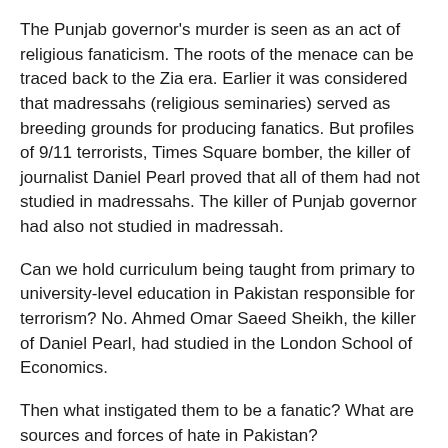The Punjab governor's murder is seen as an act of religious fanaticism. The roots of the menace can be traced back to the Zia era. Earlier it was considered that madressahs (religious seminaries) served as breeding grounds for producing fanatics. But profiles of 9/11 terrorists, Times Square bomber, the killer of journalist Daniel Pearl proved that all of them had not studied in madressahs. The killer of Punjab governor had also not studied in madressah.
Can we hold curriculum being taught from primary to university-level education in Pakistan responsible for terrorism? No. Ahmed Omar Saeed Sheikh, the killer of Daniel Pearl, had studied in the London School of Economics.
Then what instigated them to be a fanatic? What are sources and forces of hate in Pakistan?
There has been no doubt that hate missions are very much